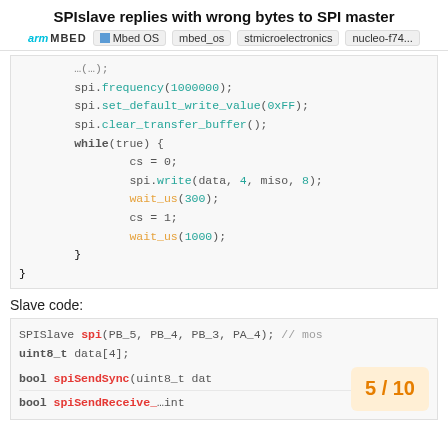SPIslave replies with wrong bytes to SPI master
arm MBED | Mbed OS | mbed_os | stmicroelectronics | nucleo-f74...
[Figure (screenshot): Code block showing SPI master code: spi.frequency(1000000); spi.set_default_write_value(0xFF); spi.clear_transfer_buffer(); while(true) { cs = 0; spi.write(data, 4, miso, 8); wait_us(300); cs = 1; wait_us(1000); } }]
Slave code:
[Figure (screenshot): Code block showing SPISlave code: SPISlave spi(PB_5, PB_4, PB_3, PA_4); // mo... uint8_t data[4]; bool spiSendSync(uint8_t dat...]
5 / 10